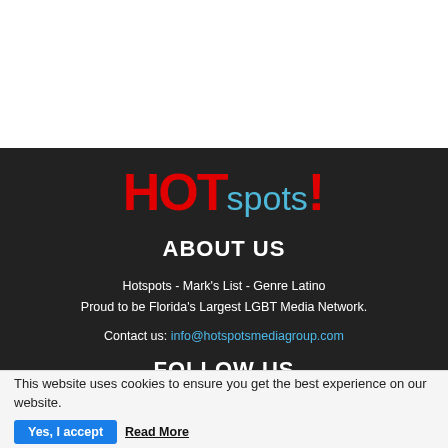[Figure (logo): HOTspots! logo — HOT in bold red, spots in light blue, exclamation mark in red]
ABOUT US
Hotspots - Mark's List - Genre Latino
Proud to be Florida's Largest LGBT Media Network.
Contact us: info@hotspotsmediagroup.com
FOLLOW US
This website uses cookies to ensure you get the best experience on our website.
Yes, I accept
Read More